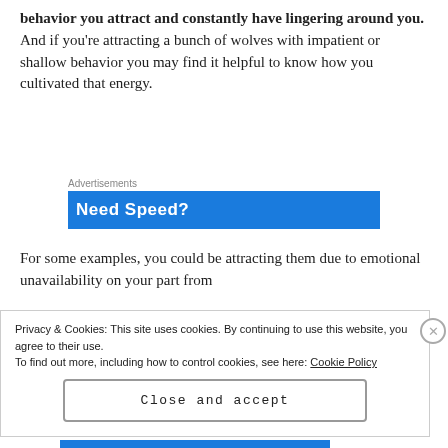behavior you attract and constantly have lingering around you. And if you're attracting a bunch of wolves with impatient or shallow behavior you may find it helpful to know how you cultivated that energy.
[Figure (other): Advertisement banner with blue background showing 'Need Speed?' text and partial images of people]
For some examples, you could be attracting them due to emotional unavailability on your part from
Privacy & Cookies: This site uses cookies. By continuing to use this website, you agree to their use.
To find out more, including how to control cookies, see here: Cookie Policy
Close and accept